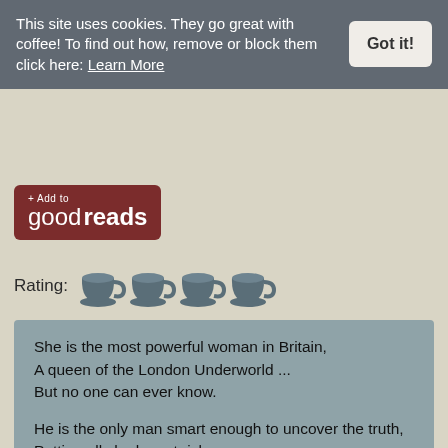This site uses cookies. They go great with coffee! To find out how, remove or block them click here: Learn More
[Figure (logo): + Add to goodreads button logo with brown background]
Rating: [4 teacup icons]
She is the most powerful woman in Britain,
A queen of the London Underworld ...
But no one can ever know.

He is the only man smart enough to uncover the truth,
Putting all she has at risk . . .
Including her heart.

The fourth book in New York Times bestselling author Sarah MacLean's incredible Rule of Scoundrels/Fallen